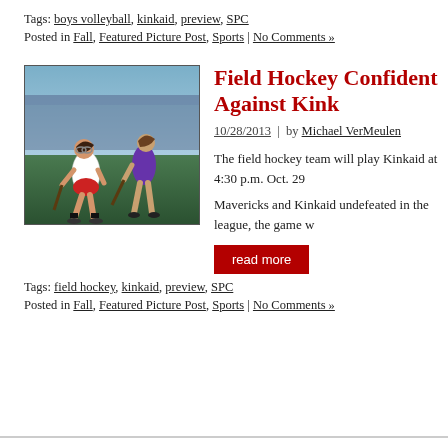Tags: boys volleyball, kinkaid, preview, SPC
Posted in Fall, Featured Picture Post, Sports | No Comments »
Field Hockey Confident Against Kink…
10/28/2013 | by Michael VerMeulen
[Figure (photo): Two female field hockey players in action, one in white uniform and one in purple, competing on a field]
The field hockey team will play Kinkaid at 4:30 p.m. Oct. 29…
Mavericks and Kinkaid undefeated in the league, the game w…
read more
Tags: field hockey, kinkaid, preview, SPC
Posted in Fall, Featured Picture Post, Sports | No Comments »